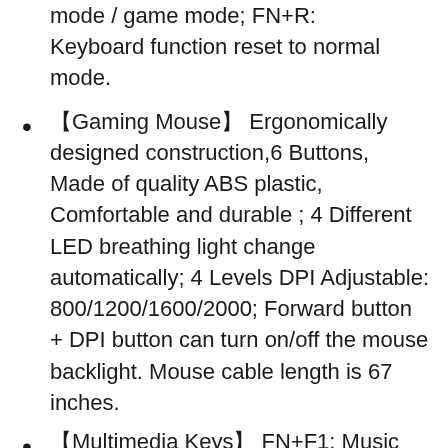mode / game mode; FN+R: Keyboard function reset to normal mode.
【Gaming Mouse】 Ergonomically designed construction,6 Buttons, Made of quality ABS plastic, Comfortable and durable ; 4 Different LED breathing light change automatically; 4 Levels DPI Adjustable: 800/1200/1600/2000; Forward button + DPI button can turn on/off the mouse backlight. Mouse cable length is 67 inches.
【Multimedia Keys】 FN+F1: Music